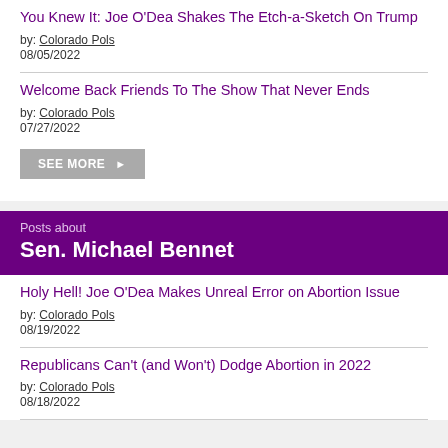You Knew It: Joe O'Dea Shakes The Etch-a-Sketch On Trump
by: Colorado Pols
08/05/2022
Welcome Back Friends To The Show That Never Ends
by: Colorado Pols
07/27/2022
Posts about
Sen. Michael Bennet
Holy Hell! Joe O'Dea Makes Unreal Error on Abortion Issue
by: Colorado Pols
08/19/2022
Republicans Can't (and Won't) Dodge Abortion in 2022
by: Colorado Pols
08/18/2022